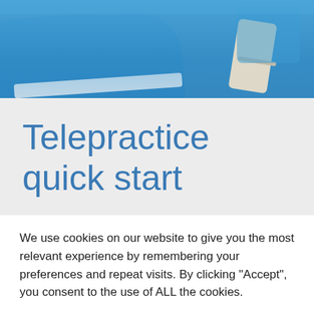[Figure (photo): Photo of a child wearing a blue jacket/sleeve with a white stripe, partially visible at the top of the page]
Telepractice quick start
We use cookies on our website to give you the most relevant experience by remembering your preferences and repeat visits. By clicking “Accept”, you consent to the use of ALL the cookies.
Cookie settings | ACCEPT